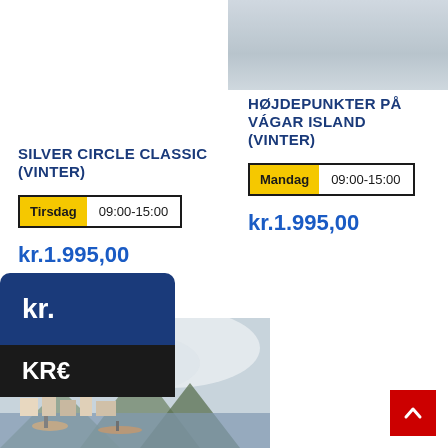[Figure (photo): Partial view of a building or landscape, top-right corner of page]
SILVER CIRCLE CLASSIC (VINTER)
Tirsdag  09:00-15:00
kr.1.995,00
HØJDEPUNKTER PÅ VÁGAR ISLAND (VINTER)
Mandag  09:00-15:00
kr.1.995,00
[Figure (screenshot): Currency selector UI showing kr. and KRK options in blue and black panels]
[Figure (photo): Coastal town with boats, mountains with clouds in background]